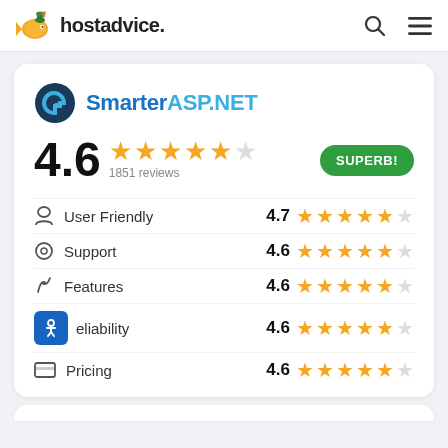hostadvice.
[Figure (logo): SmarterASP.NET logo with circular icon]
4.6 — 1851 reviews — SUPERB!
User Friendly 4.7
Support 4.6
Features 4.6
Reliability 4.6
Pricing 4.6